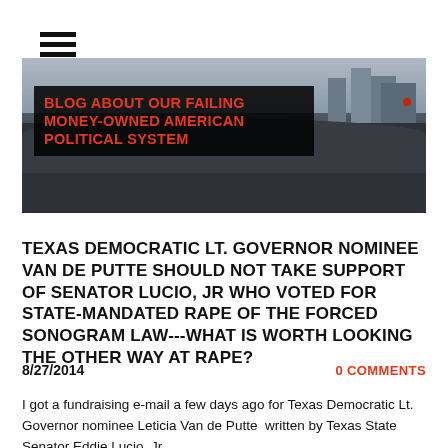[Figure (photo): Banner image with crowd of protesters in an urban setting with city skyline in background. Black overlay box contains red bold text: BLOG ABOUT OUR FAILING MONEY-OWNED AMERICAN POLITICAL SYSTEM]
TEXAS DEMOCRATIC LT. GOVERNOR NOMINEE VAN DE PUTTE SHOULD NOT TAKE SUPPORT OF SENATOR LUCIO, JR WHO VOTED FOR STATE-MANDATED RAPE OF THE FORCED SONOGRAM LAW---WHAT IS WORTH LOOKING THE OTHER WAY AT RAPE?
8/27/2014
0 COMMENTS
I got a fundraising e-mail a few days ago for Texas Democratic Lt. Governor nominee Leticia Van de Putte  written by Texas State Senator Eddie Lucio, Jr.